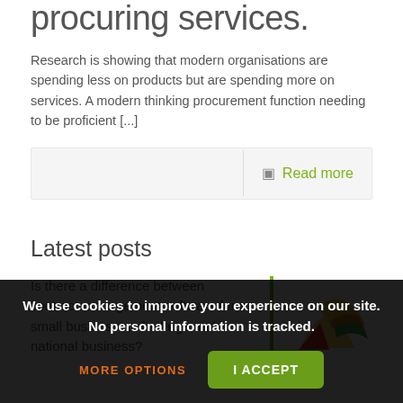procuring services.
Research is showing that modern organisations are spending less on products but are spending more on services. A modern thinking procurement function needing to be proficient [...]
Read more
Latest posts
Is there a difference between contract management software for a small business and a large multi-national business?
We use cookies to improve your experience on our site. No personal information is tracked.
MORE OPTIONS
I ACCEPT